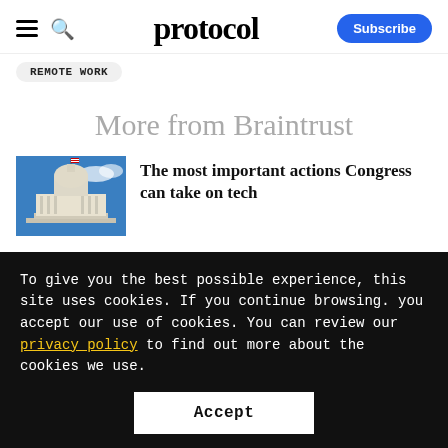protocol
Remote Work
More from Braintrust
[Figure (photo): Photo of the US Capitol building against a blue sky]
The most important actions Congress can take on tech
To give you the best possible experience, this site uses cookies. If you continue browsing. you accept our use of cookies. You can review our privacy policy to find out more about the cookies we use.
Accept